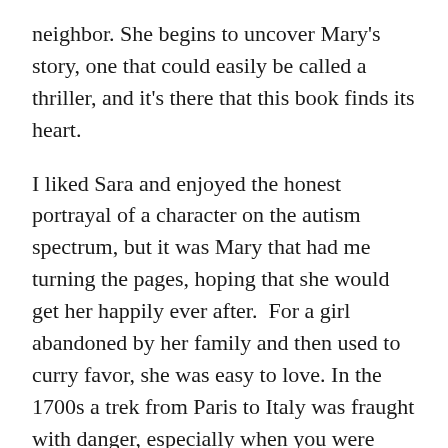neighbor. She begins to uncover Mary's story, one that could easily be called a thriller, and it's there that this book finds its heart.
I liked Sara and enjoyed the honest portrayal of a character on the autism spectrum, but it was Mary that had me turning the pages, hoping that she would get her happily ever after. For a girl abandoned by her family and then used to curry favor, she was easy to love. In the 1700s a trek from Paris to Italy was fraught with danger, especially when you were caught with a man who recognized the bounty on the head of her travel companions. I won't spoil Mary's end, but I will say that it was fitting.
Kearsley is a master at the dual storylines set in different time periods. Usually the storylines